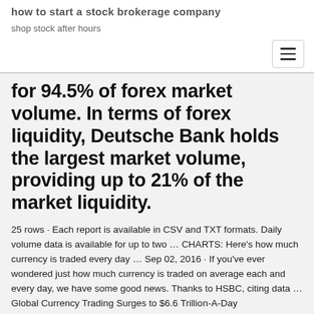how to start a stock brokerage company
shop stock after hours
for 94.5% of forex market volume. In terms of forex liquidity, Deutsche Bank holds the largest market volume, providing up to 21% of the market liquidity.
25 rows · Each report is available in CSV and TXT formats. Daily volume data is available for up to two … CHARTS: Here's how much currency is traded every day … Sep 02, 2016 · If you've ever wondered just how much currency is traded on average each and every day, we have some good news. Thanks to HSBC, citing data … Global Currency Trading Surges to $6.6 Trillion-A-Day